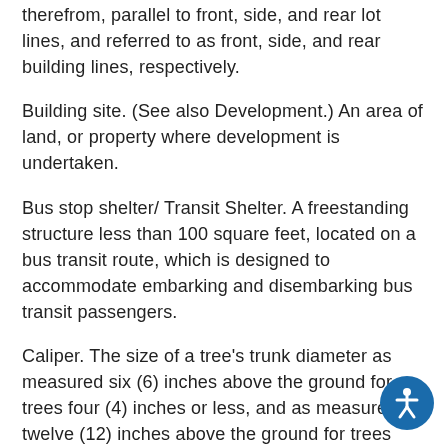therefrom, parallel to front, side, and rear lot lines, and referred to as front, side, and rear building lines, respectively.
Building site. (See also Development.) An area of land, or property where development is undertaken.
Bus stop shelter/ Transit Shelter. A freestanding structure less than 100 square feet, located on a bus transit route, which is designed to accommodate embarking and disembarking bus transit passengers.
Caliper. The size of a tree's trunk diameter as measured six (6) inches above the ground for trees four (4) inches or less, and as measured twelve (12) inches above the ground for trees larger than four (4) inches. This measurement of caliper is used to determine if newly planted trees meet the requirements of the